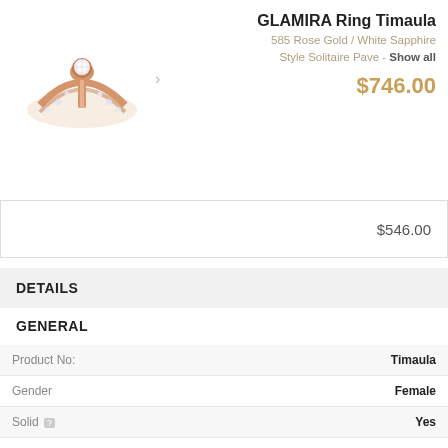[Figure (photo): Photo of GLAMIRA Ring Timaula in rose gold with white sapphire, solitaire pave style]
GLAMIRA Ring Timaula
585 Rose Gold / White Sapphire
Style Solitaire Pave - Show all
$746.00
$546.00
DETAILS
GENERAL
|  |  |
| --- | --- |
| Product No: | Timaula |
| Gender | Female |
| Solid [?] | Yes |
| Ring Size |  |
| Color / Metal [?] | 585 Rose Gold |
| GLAMIRA Logo inside [?] | Yes |